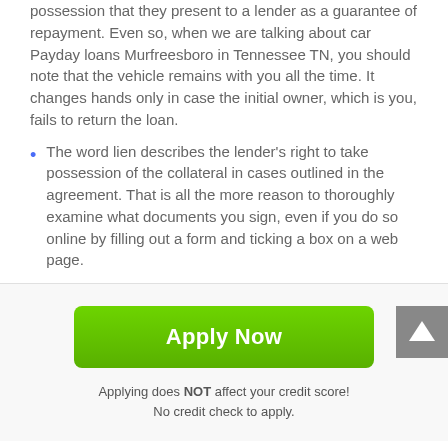possession that they present to a lender as a guarantee of repayment. Even so, when we are talking about car Payday loans Murfreesboro in Tennessee TN, you should note that the vehicle remains with you all the time. It changes hands only in case the initial owner, which is you, fails to return the loan.
The word lien describes the lender's right to take possession of the collateral in cases outlined in the agreement. That is all the more reason to thoroughly examine what documents you sign, even if you do so online by filling out a form and ticking a box on a web page.
[Figure (other): Green 'Apply Now' button]
Applying does NOT affect your credit score!
No credit check to apply.